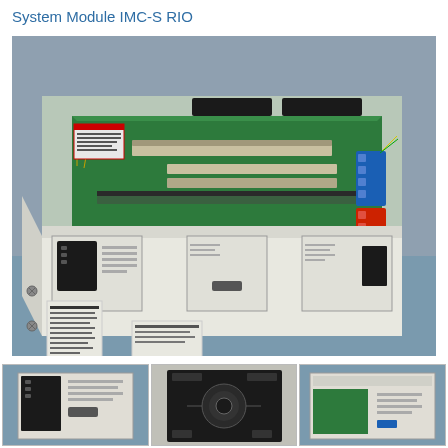System Module IMC-S RIO
[Figure (photo): Open industrial control system module IMC-S RIO showing internal PCB with connectors, terminal blocks, and circuit components inside a white metal enclosure, photographed from an angle on a blue-grey background.]
[Figure (photo): Thumbnail image 1 of the IMC-S RIO module.]
[Figure (photo): Thumbnail image 2 of the IMC-S RIO module showing front panel with controls.]
[Figure (photo): Thumbnail image 3 of the IMC-S RIO module.]